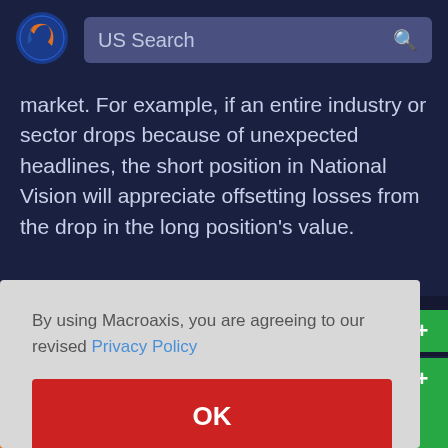[Figure (logo): Macroaxis logo — orange and blue globe icon]
US Search
market. For example, if an entire industry or sector drops because of unexpected headlines, the short position in National Vision will appreciate offsetting losses from the drop in the long position's value.
By using Macroaxis, you are agreeing to our revised Privacy Policy
OK